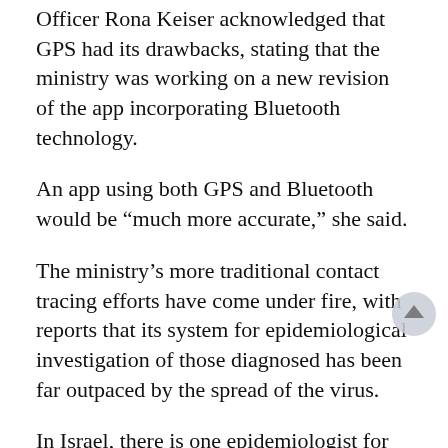Officer Rona Keiser acknowledged that GPS had its drawbacks, stating that the ministry was working on a new revision of the app incorporating Bluetooth technology.
An app using both GPS and Bluetooth would be “much more accurate,” she said.
The ministry’s more traditional contact tracing efforts have come under fire, with reports that its system for epidemiological investigation of those diagnosed has been far outpaced by the spread of the virus.
In Israel, there is one epidemiologist for every 300,000 people. The Health Ministry is looking to beef up its team to one epidemiologist for every 30,000, but even if that improvement is made, the numbers would still lag far behind many countries